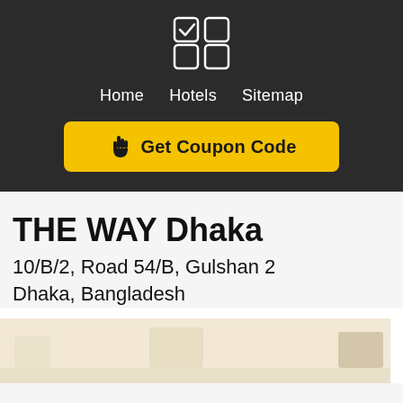[Figure (logo): App icon logo with four squares, top-left has checkmark, dark background]
Home   Hotels   Sitemap
Get Coupon Code
THE WAY Dhaka
10/B/2, Road 54/B, Gulshan 2
Dhaka, Bangladesh
[Figure (photo): Partial hotel interior/room photo strip showing light-colored furniture]